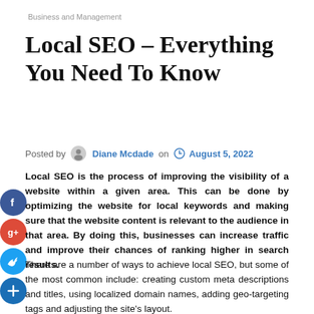Business and Management
Local SEO – Everything You Need To Know
Posted by Diane Mcdade on August 5, 2022
Local SEO is the process of improving the visibility of a website within a given area. This can be done by optimizing the website for local keywords and making sure that the website content is relevant to the audience in that area. By doing this, businesses can increase traffic and improve their chances of ranking higher in search results.
There are a number of ways to achieve local SEO, but some of the most common include: creating custom meta descriptions and titles, using localized domain names, adding geo-targeting tags and adjusting the site's layout.